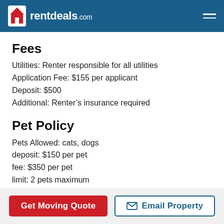rentdeals.com
Fees
Utilities: Renter responsible for all utilities
Application Fee: $155 per applicant
Deposit: $500
Additional: Renter's insurance required
Pet Policy
Pets Allowed: cats, dogs
deposit: $150 per pet
fee: $350 per pet
limit: 2 pets maximum
rent: $20/month per pet
restrictions: Aggressive Breeds
Get Moving Quote | Email Property